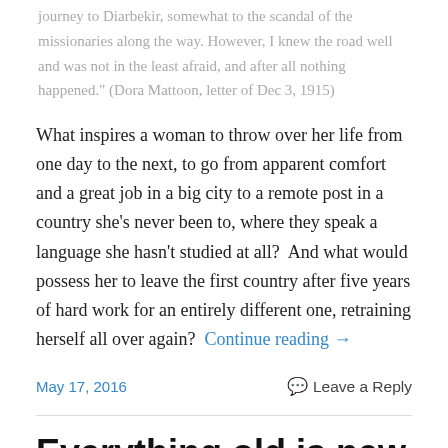journey to Diarbekir, somewhat to the scandal of the missionaries along the way. However, I knew the road well and was not in the least afraid, and after all nothing happened." (Dora Mattoon, letter of Dec 3, 1915)
What inspires a woman to throw over her life from one day to the next, to go from apparent comfort and a great job in a big city to a remote post in a country she’s never been to, where they speak a language she hasn't studied at all?  And what would possess her to leave the first country after five years of hard work for an entirely different one, retraining herself all over again?  Continue reading →
May 17, 2016
Leave a Reply
Everything old is new again